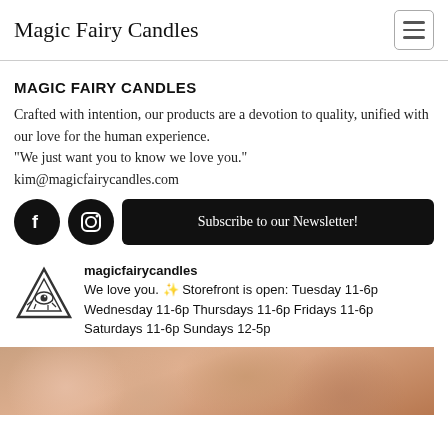Magic Fairy Candles
MAGIC FAIRY CANDLES
Crafted with intention, our products are a devotion to quality, unified with our love for the human experience. "We just want you to know we love you." kim@magicfairycandles.com
[Figure (infographic): Facebook and Instagram social icons (black circles) and a black Subscribe to our Newsletter! button]
[Figure (infographic): All-seeing eye triangle logo for magicfairycandles Instagram embed. Text: magicfairycandles — We love you. ✨ Storefront is open: Tuesday 11-6p Wednesday 11-6p Thursdays 11-6p Fridays 11-6p Saturdays 11-6p Sundays 12-5p]
[Figure (photo): Blurred photo of candles and crystals in warm tones at bottom of page]